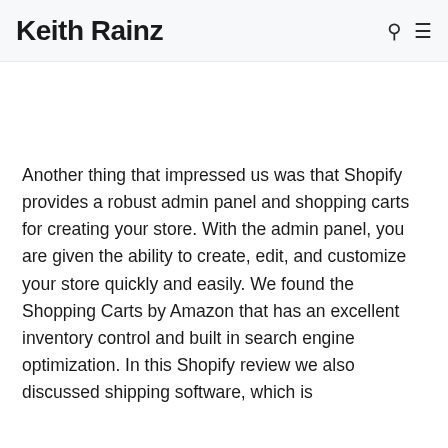Keith Rainz
Another thing that impressed us was that Shopify provides a robust admin panel and shopping carts for creating your store. With the admin panel, you are given the ability to create, edit, and customize your store quickly and easily. We found the Shopping Carts by Amazon that has an excellent inventory control and built in search engine optimization. In this Shopify review we also discussed shipping software, which is